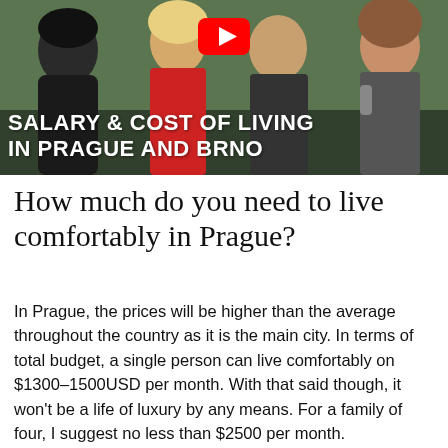[Figure (screenshot): YouTube video thumbnail showing four people outdoors with text overlay 'SALARY & COST OF LIVING IN PRAGUE AND BRNO' and a YouTube play button icon at the top center.]
How much do you need to live comfortably in Prague?
In Prague, the prices will be higher than the average throughout the country as it is the main city. In terms of total budget, a single person can live comfortably on $1300–1500USD per month. With that said though, it won't be a life of luxury by any means. For a family of four, I suggest no less than $2500 per month.